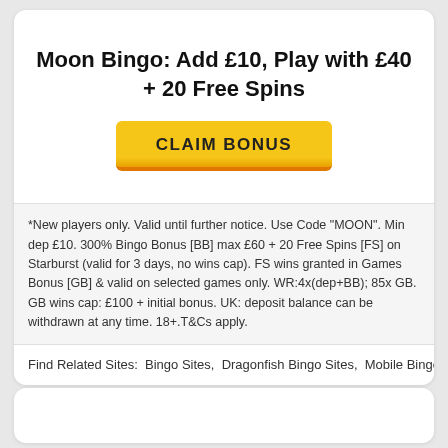Moon Bingo: Add £10, Play with £40 + 20 Free Spins
[Figure (other): Yellow 'CLAIM BONUS' button with orange bottom border]
*New players only. Valid until further notice. Use Code "MOON". Min dep £10. 300% Bingo Bonus [BB] max £60 + 20 Free Spins [FS] on Starburst (valid for 3 days, no wins cap). FS wins granted in Games Bonus [GB] & valid on selected games only. WR:4x(dep+BB); 85x GB. GB wins cap: £100 + initial bonus. UK: deposit balance can be withdrawn at any time. 18+.T&Cs apply.
Find Related Sites:  Bingo Sites,  Dragonfish Bingo Sites,  Mobile Bingo Si…